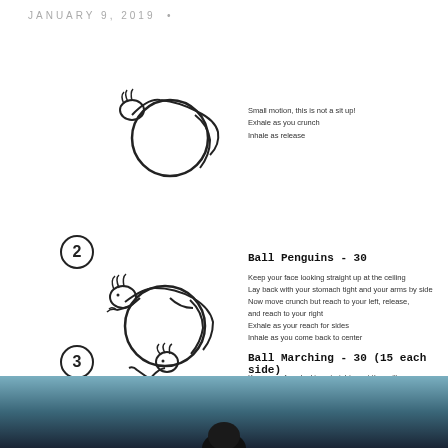JANUARY 9, 2019  •
[Figure (illustration): Stick figure person lying on an exercise ball performing a crunch exercise]
Small motion, this is not a sit up!
Exhale as you crunch
Inhale as release
[Figure (illustration): Stick figure person lying on an exercise ball with arms out to sides for Ball Penguins exercise, with number 2 circled]
Ball Penguins - 30
Keep your face looking straight up at the ceiling
Lay back with your stomach tight and your arms by side
Now move crunch but reach to your left, release,
and reach to your right
Exhale as your reach for sides
Inhale as you come back to center
[Figure (illustration): Stick figure person on exercise ball with one knee raised for Ball Marching exercise, with number 3 circled]
Ball Marching - 30 (15 each side)
Keep your face looking straight up at the ceiling
Sit up, keeping one leg on the ground and bring one leg
into your chest.
[Figure (photo): Dark photo showing a silhouette of a person, blue-grey sky background]